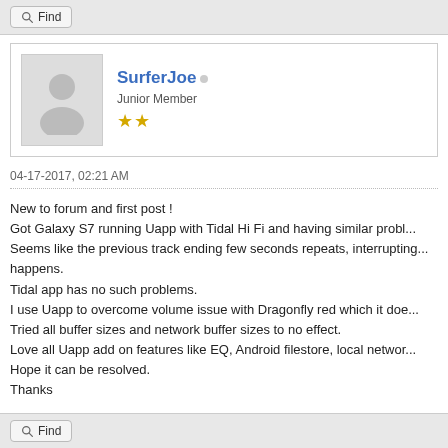Find
SurferJoe
Junior Member
★★
04-17-2017, 02:21 AM
New to forum and first post !
Got Galaxy S7 running Uapp with Tidal Hi Fi and having similar probl...
Seems like the previous track ending few seconds repeats, interrupting...
happens.
Tidal app has no such problems.
I use Uapp to overcome volume issue with Dragonfly red which it doe...
Tried all buffer sizes and network buffer sizes to no effect.
Love all Uapp add on features like EQ, Android filestore, local networ...
Hope it can be resolved.
Thanks
Find